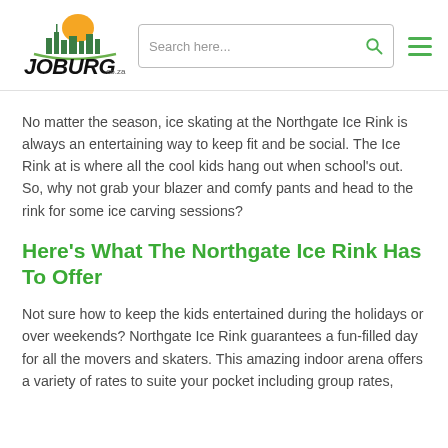[Figure (logo): Joburg.co.za website logo with city skyline icon and orange sun, text reads JOBURG.co.za in black stylized font]
[Figure (screenshot): Search bar with placeholder text 'Search here...' and green magnifying glass icon on the right]
[Figure (infographic): Green hamburger menu icon with three horizontal lines]
No matter the season, ice skating at the Northgate Ice Rink is always an entertaining way to keep fit and be social. The Ice Rink at is where all the cool kids hang out when school's out. So, why not grab your blazer and comfy pants and head to the rink for some ice carving sessions?
Here's What The Northgate Ice Rink Has To Offer
Not sure how to keep the kids entertained during the holidays or over weekends? Northgate Ice Rink guarantees a fun-filled day for all the movers and skaters. This amazing indoor arena offers a variety of rates to suite your pocket including group rates,